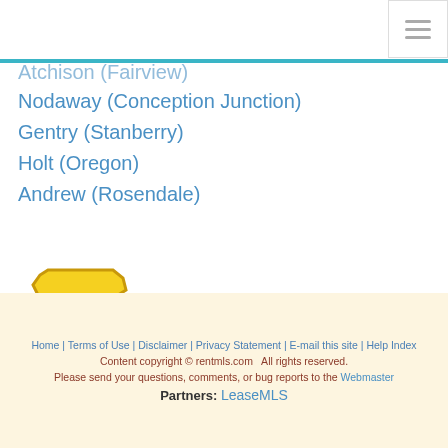≡ (hamburger menu icon)
Atchison (Fairview) [partial, clipped at top]
Nodaway (Conception Junction)
Gentry (Stanberry)
Holt (Oregon)
Andrew (Rosendale)
[Figure (illustration): Missouri state shape icon in yellow/gold with 'MO' text in orange-red, outlined in dark yellow]
Home | Terms of Use | Disclaimer | Privacy Statement | E-mail this site | Help Index
Content copyright © rentmls.com   All rights reserved.
Please send your questions, comments, or bug reports to the Webmaster
Partners: LeaseMLS